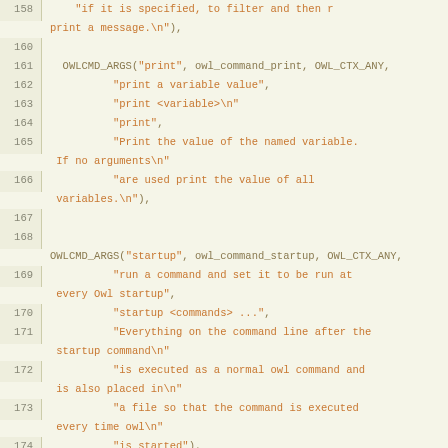[Figure (screenshot): Source code listing showing C code with line numbers 158-182. The code shows OWLCMD_ARGS and OWLCMD_VOID macro calls with string arguments for print, startup, unstartup, and version commands in an Owl application.]